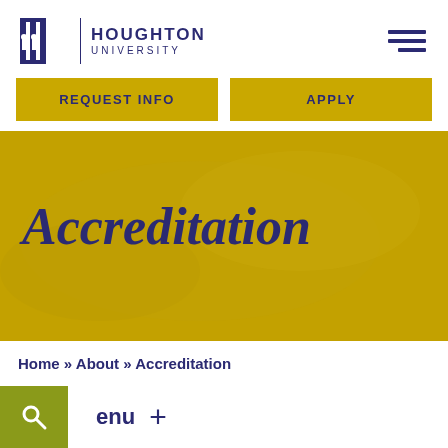[Figure (logo): Houghton University logo with architectural columns icon and university name in navy blue]
REQUEST INFO
APPLY
[Figure (photo): Hero banner with golden overlay showing the word Accreditation in large italic serif font over a textured background]
Accreditation
Home » About » Accreditation
enu +